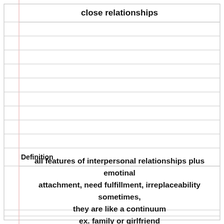close relationships
Definition
all features of interpersonal relationships plus emotinal attachment, need fulfillment, irreplaceability sometimes, they are like a continuum ex. family or girlfriend